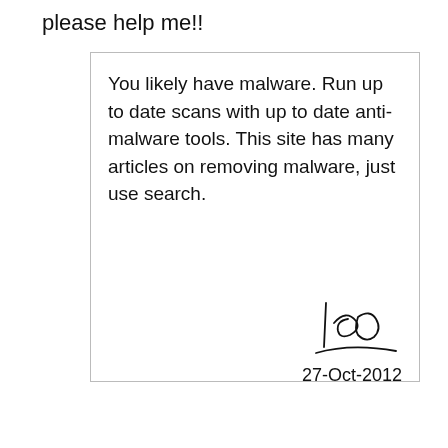please help me!!
You likely have malware. Run up to date scans with up to date anti-malware tools. This site has many articles on removing malware, just use search.
[Figure (illustration): Handwritten signature of Leo with an underline stroke]
27-Oct-2012